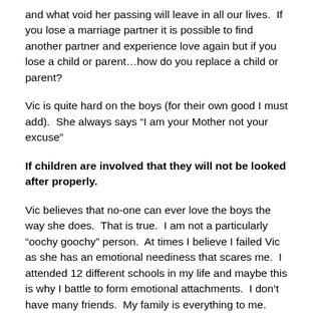and what void her passing will leave in all our lives.  If you lose a marriage partner it is possible to find another partner and experience love again but if you lose a child or parent…how do you replace a child or parent?
Vic is quite hard on the boys (for their own good I must add).  She always says “I am your Mother not your excuse”
If children are involved that they will not be looked after properly.
Vic believes that no-one can ever love the boys the way she does.  That is true.  I am not a particularly “oochy goochy” person.  At times I believe I failed Vic as she has an emotional neediness that scares me.  I attended 12 different schools in my life and maybe this is why I battle to form emotional attachments.  I don’t have many friends.  My family is everything to me.